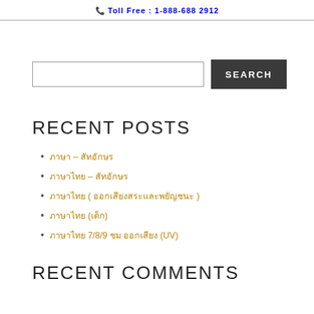Toll Free : 1-888-688 2912
RECENT POSTS
ภาษา – สัทอักษร
ภาษาไทย – สัทอักษร
ภาษาไทย ( ออกเสียงสระและพยัญชนะ )
ภาษาไทย (เด็ก)
ภาษาไทย 7/8/9 ชม ออกเสียง (UV)
RECENT COMMENTS